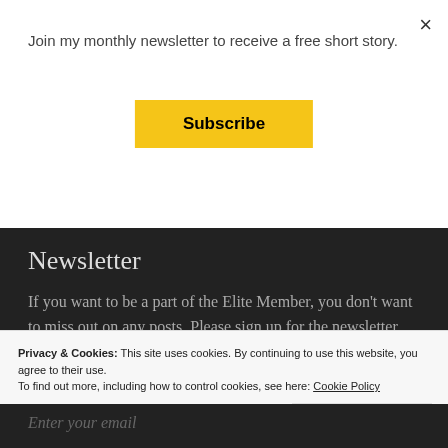Join my monthly newsletter to receive a free short story.
Subscribe
×
Newsletter
If you want to be a part of the Elite Member, you don't want to miss out on any posts. Please sign up for the newsletter. That way, when each post comes out, I will alert you. Not always can we rely on Social Media? Like right now, I am already having
Privacy & Cookies: This site uses cookies. By continuing to use this website, you agree to their use.
To find out more, including how to control cookies, see here: Cookie Policy
Close and accept
Enter your email